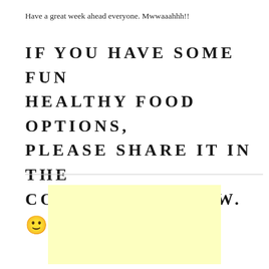Have a great week ahead everyone. Mwwaaahhh!!
IF YOU HAVE SOME FUN HEALTHY FOOD OPTIONS, PLEASE SHARE IT IN THE COMMENTS BELOW. 🙂
[Figure (other): Light yellow rectangular advertisement or placeholder box]